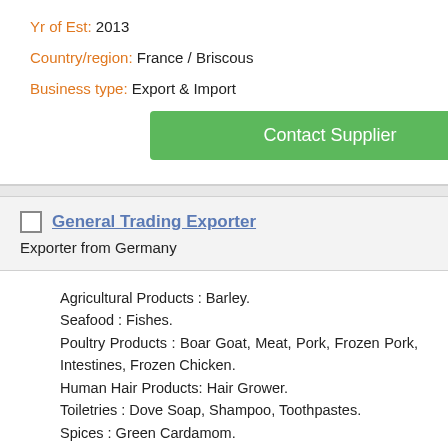Yr of Est: 2013
Country/region: France / Briscous
Business type: Export & Import
Contact Supplier
General Trading Exporter
Exporter from Germany
Agricultural Products : Barley. Seafood : Fishes. Poultry Products : Boar Goat, Meat, Pork, Frozen Pork, Intestines, Frozen Chicken. Human Hair Products: Hair Grower. Toiletries : Dove Soap, Shampoo, Toothpastes. Spices : Green Cardamom. Cosmetics : Perfumes. Tobacco : Cigarettes. Footwear : Shoes. Home Furnishings : Cushions & Pillows